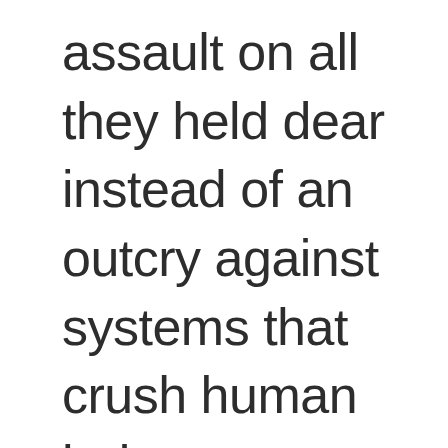assault on all they held dear instead of an outcry against systems that crush human beings.